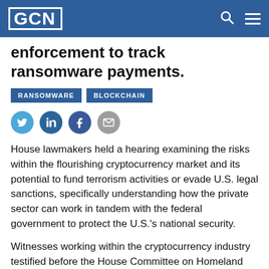GCN
enforcement to track ransomware payments.
RANSOMWARE   BLOCKCHAIN
[Figure (other): Social media share icons: Twitter, LinkedIn, Facebook, Email]
House lawmakers held a hearing examining the risks within the flourishing cryptocurrency market and its potential to fund terrorism activities or evade U.S. legal sanctions, specifically understanding how the private sector can work in tandem with the federal government to protect the U.S.'s national security.
Witnesses working within the cryptocurrency industry testified before the House Committee on Homeland Security, discussing collaboration